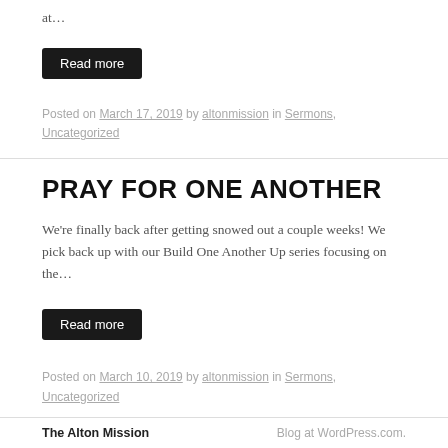at…
Read more
Posted on March 17, 2019 by altonmission in Sermons, Uncategorized
PRAY FOR ONE ANOTHER
We're finally back after getting snowed out a couple weeks! We pick back up with our Build One Another Up series focusing on the…
Read more
Posted on March 10, 2019 by altonmission in Sermons, Uncategorized
The Alton Mission    Blog at WordPress.com.